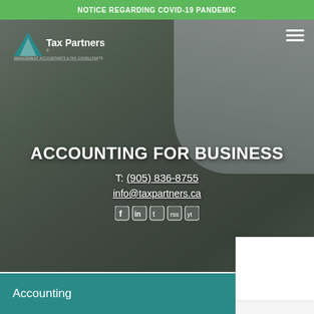NOTICE REGARDING COVID-19 PANDEMIC
[Figure (screenshot): Tax Partners logo — teal triangle with 'Tax Partners' text and 'MANAGEMENT ACCOUNTANTS & TAX CONSULTANTS' subtitle]
ACCOUNTING FOR BUSINESS
T: (905) 836-8755
info@taxpartners.ca
[Figure (illustration): Social media icons: Facebook, LinkedIn, Twitter, RSS, YouTube]
Accounting